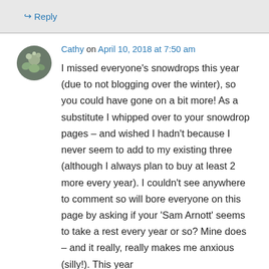↳ Reply
Cathy on April 10, 2018 at 7:50 am
I missed everyone's snowdrops this year (due to not blogging over the winter), so you could have gone on a bit more! As a substitute I whipped over to your snowdrop pages – and wished I hadn't because I never seem to add to my existing three (although I always plan to buy at least 2 more every year). I couldn't see anywhere to comment so will bore everyone on this page by asking if your 'Sam Arnott' seems to take a rest every year or so? Mine does – and it really, really makes me anxious (silly!). This year